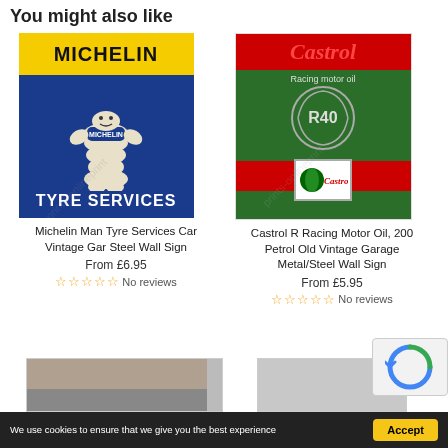You might also like
[Figure (photo): Michelin Man Tyre Services vintage steel wall sign — blue background with yellow top bar showing MICHELIN, Michelin Man mascot in center, TYRE SERVICES text at bottom]
Michelin Man Tyre Services Car Vintage Gar Steel Wall Sign
From £6.95
No reviews
[Figure (photo): Castrol R Racing Motor Oil R40 vintage garage metal/steel wall sign — green background, red top bar with Castrol logo, R40 in circle with laurel wreath, Castrol logo box at bottom]
Castrol R Racing Motor Oil, 200 Petrol Old Vintage Garage Metal/Steel Wall Sign
From £5.95
No reviews
We use cookies to ensure that we give you the best experience